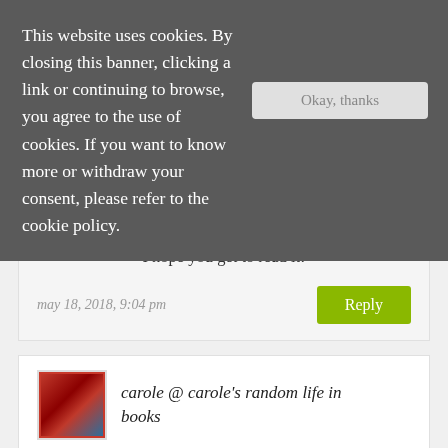This website uses cookies. By closing this banner, clicking a link or continuing to browse, you agree to the use of cookies. If you want to know more or withdraw your consent, please refer to the cookie policy.
I hope you get to read it!
may 18, 2018, 9:04 pm
carole @ carole's random life in books
I haven't read any of these but I have had Alex, Approximately on my tbr pile forever. I love thriller so I am interested in The Game Trilogy. Good for you for getting one knocked off the old arc pile. A Quiet Kind of